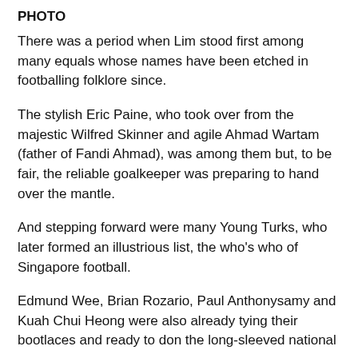PHOTO
There was a period when Lim stood first among many equals whose names have been etched in footballing folklore since.
The stylish Eric Paine, who took over from the majestic Wilfred Skinner and agile Ahmad Wartam (father of Fandi Ahmad), was among them but, to be fair, the reliable goalkeeper was preparing to hand over the mantle.
And stepping forward were many Young Turks, who later formed an illustrious list, the who's who of Singapore football.
Edmund Wee, Brian Rozario, Paul Anthonysamy and Kuah Chui Heong were also already tying their bootlaces and ready to don the long-sleeved national